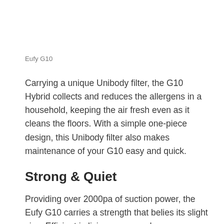Eufy G10
Carrying a unique Unibody filter, the G10 Hybrid collects and reduces the allergens in a household, keeping the air fresh even as it cleans the floors. With a simple one-piece design, this Unibody filter also makes maintenance of your G10 easy and quick.
Strong & Quiet
Providing over 2000pa of suction power, the Eufy G10 carries a strength that belies its slight size. Efficient in living rooms and